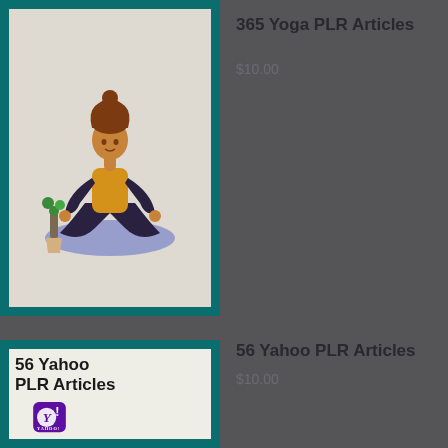[Figure (illustration): Product card for '365 Yoga PLR Articles' showing a woman in yoga meditation pose with a plant, on a teal-bordered card with light background]
365 Yoga PLR Articles
$10.00
[Figure (illustration): Product card for '56 Yahoo PLR Articles' showing Yahoo logo (Y! in purple rounded square) with text '56 Yahoo PLR Articles' above it, on a teal-bordered card with cream background]
56 Yahoo PLR Articles
$10.00